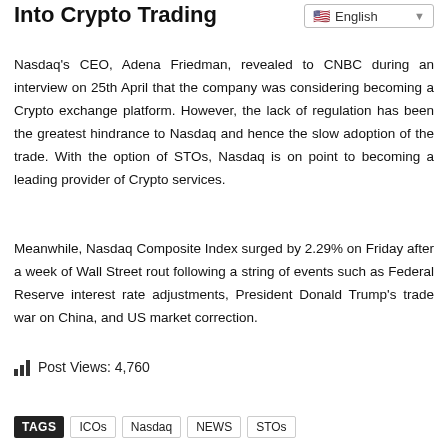Into Crypto Trading
[Figure (other): Language selector dropdown showing English with flag icon]
Nasdaq's CEO, Adena Friedman, revealed to CNBC during an interview on 25th April that the company was considering becoming a Crypto exchange platform. However, the lack of regulation has been the greatest hindrance to Nasdaq and hence the slow adoption of the trade. With the option of STOs, Nasdaq is on point to becoming a leading provider of Crypto services.
Meanwhile, Nasdaq Composite Index surged by 2.29% on Friday after a week of Wall Street rout following a string of events such as Federal Reserve interest rate adjustments, President Donald Trump's trade war on China, and US market correction.
Post Views: 4,760
TAGS  ICOs  Nasdaq  NEWS  STOs